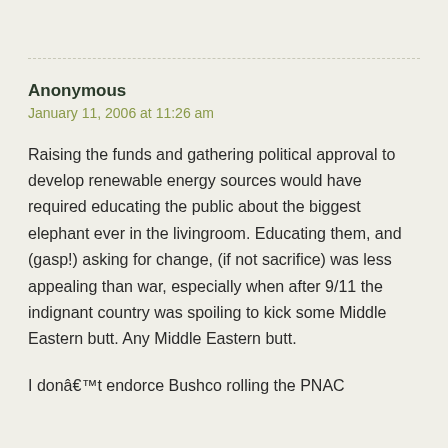Anonymous
January 11, 2006 at 11:26 am
Raising the funds and gathering political approval to develop renewable energy sources would have required educating the public about the biggest elephant ever in the livingroom. Educating them, and (gasp!) asking for change, (if not sacrifice) was less appealing than war, especially when after 9/11 the indignant country was spoiling to kick some Middle Eastern butt. Any Middle Eastern butt.
I donâ€™t endorce Bushco rolling the PNAC